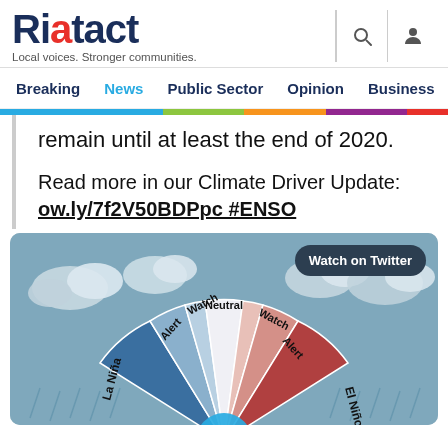Riotact — Local voices. Stronger communities.
Breaking | News | Public Sector | Opinion | Business | R
remain until at least the end of 2020.
Read more in our Climate Driver Update: ow.ly/7f2V50BDPpc #ENSO
[Figure (other): ENSO dial/wheel infographic showing La Niña, Watch, Alert, Neutral, Watch, Alert, El Niño segments with arrow pointing toward La Niña. A play button overlay and 'Watch on Twitter' button are visible.]